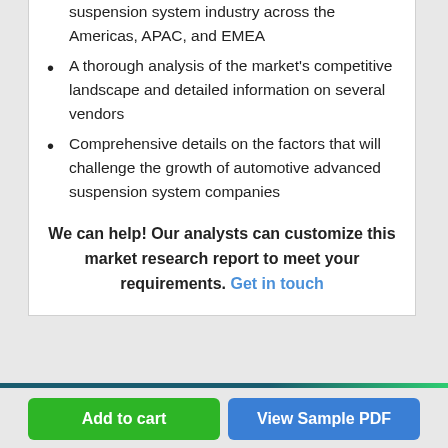suspension system industry across the Americas, APAC, and EMEA
A thorough analysis of the market's competitive landscape and detailed information on several vendors
Comprehensive details on the factors that will challenge the growth of automotive advanced suspension system companies
We can help! Our analysts can customize this market research report to meet your requirements. Get in touch